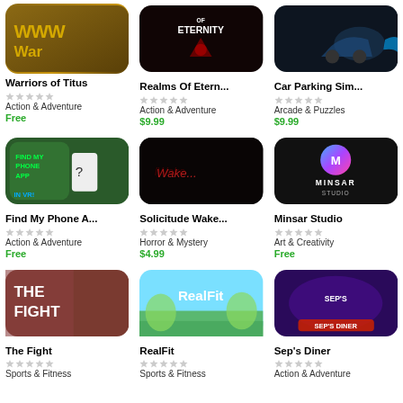[Figure (screenshot): Warriors of Titus app icon]
Warriors of Titus
Action & Adventure
Free
[Figure (screenshot): Realms Of Eternity app icon]
Realms Of Etern...
Action & Adventure
$9.99
[Figure (screenshot): Car Parking Simulator app icon]
Car Parking Sim...
Arcade & Puzzles
$9.99
[Figure (screenshot): Find My Phone App in VR icon]
Find My Phone A...
Action & Adventure
Free
[Figure (screenshot): Solicitude Wake... horror app icon]
Solicitude Wake...
Horror & Mystery
$4.99
[Figure (logo): Minsar Studio logo on dark background]
Minsar Studio
Art & Creativity
Free
[Figure (screenshot): The Fight app icon]
The Fight
Sports & Fitness
[Figure (screenshot): RealFit app icon]
RealFit
Sports & Fitness
[Figure (screenshot): Sep's Diner app icon]
Sep's Diner
Action & Adventure